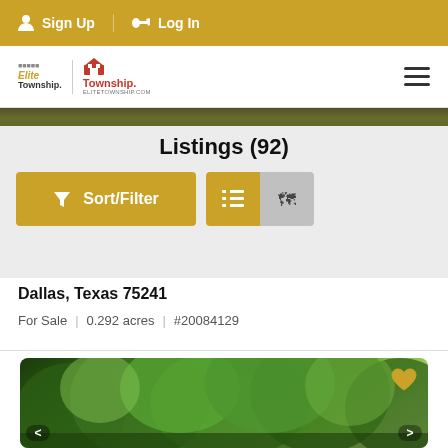Sign Up  Log In
[Figure (logo): Elite Township and Township real estate logos with divider]
Listings (92)
Sort/Filter  [list view icon]  [map view icon]
Dallas, Texas 75241
For Sale  |  0.292 acres  |  #20084129
[Figure (photo): Aerial or ground-level photo of trees and greenery for a property listing in Dallas, Texas]